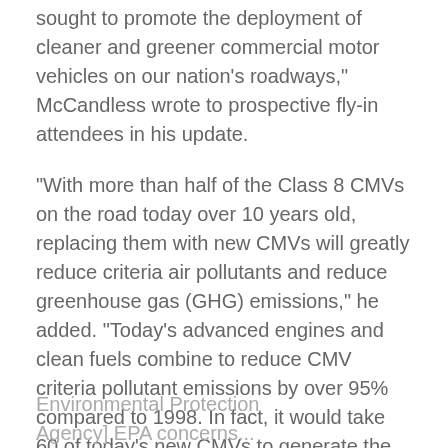sought to promote the deployment of cleaner and greener commercial motor vehicles on our nation's roadways," McCandless wrote to prospective fly-in attendees in his update.
"With more than half of the Class 8 CMVs on the road today over 10 years old, replacing them with new CMVs will greatly reduce criteria air pollutants and reduce greenhouse gas (GHG) emissions," he added. "Today's advanced engines and clean fuels combine to reduce CMV criteria pollutant emissions by over 95% compared to 1998. In fact, it would take 60 of today's new CMVs to generate the same emissions as just one CMV manufactured in 1988." "The clean air and fuel savings benefits of new regulatory mandates recently proposed by [the U.S.
Environmental Protection Agency] EPA concerns...